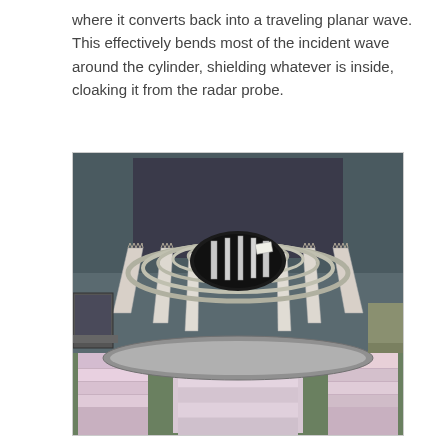where it converts back into a traveling planar wave. This effectively bends most of the incident wave around the cylinder, shielding whatever is inside, cloaking it from the radar probe.
[Figure (photo): Photograph of a cylindrical cloaking device prototype made of metallic rings and flat rectangular panels (metamaterial sheets) arranged in a circular pattern. The device sits on a lab bench and shows concentric metal rings at the top with flat white/gray panels fanning outward below, resting on stacked material samples.]